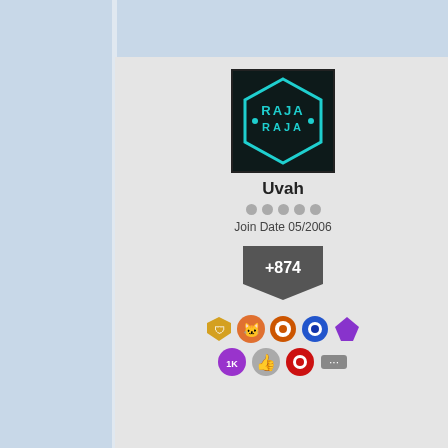[Figure (screenshot): Forum post by user Uvah with avatar showing stylized 'RAJA' logo on dark background. User has 5 dots, Join Date 05/2006, +874 score badge, and multiple achievement icons.]
Uvah
Join Date 05/2006
+874
Reply #10    February 9, 2017 1:5
Checked out ninite.com and at version and once the trial is up
[Figure (screenshot): Forum post by user anotherside with avatar showing a yellow pinwheel/flower on blue sky and grass background. User has 2 dots, Join Date 11/2009, +16 score badge, and achievement icons.]
anotherside
Join Date 11/2009
+16
Reply #11    February 9, 2017 2:0
Quoting Uvah, reply 10
Checked out ninite.com and a trial version and once the trial